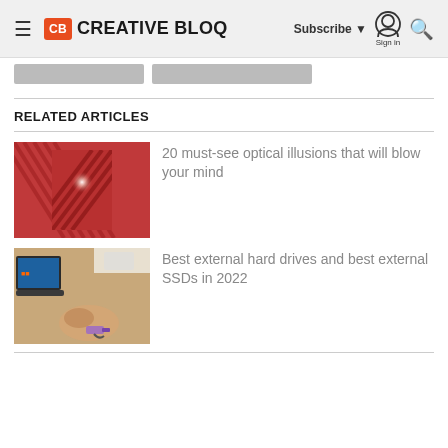Creative Bloq — Subscribe | Sign in | Search
[Figure (screenshot): Two gray placeholder/loading bars below the header]
RELATED ARTICLES
[Figure (photo): Red optical illusion image showing diagonal patterns and a bright reflective square]
20 must-see optical illusions that will blow your mind
[Figure (photo): Person plugging a USB cable into a laptop at a desk]
Best external hard drives and best external SSDs in 2022